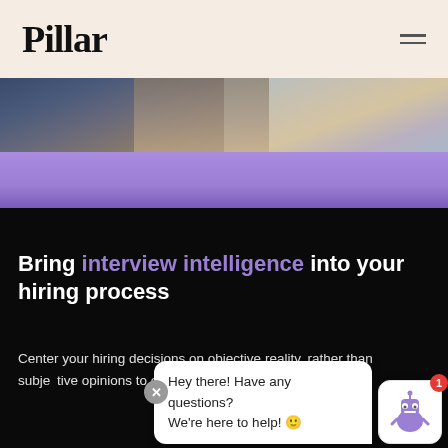Pillar
[Figure (photo): Two people seated in an interview or meeting setting, partially visible from the waist/chest down]
[Figure (illustration): Purple gradient background band]
Bring interview intelligence into your hiring process
Center your hiring decisions on objective reality, rather than subjective opinions to effectively and select the right r.
[Figure (screenshot): Chat widget with message: Hey there! Have any questions? We're here to help! with a robot avatar and notification badge showing 1]